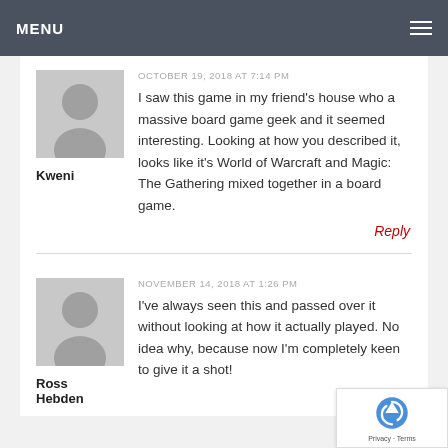MENU
OCTOBER 19, 2018 AT 7:14 PM
I saw this game in my friend's house who a massive board game geek and it seemed interesting. Looking at how you described it, looks like it's World of Warcraft and Magic: The Gathering mixed together in a board game.
Kweni
Reply
NOVEMBER 14, 2018 AT 1:26 PM
I've always seen this and passed over it without looking at how it actually played. No idea why, because now I'm completely keen to give it a shot!
Ross Hebden